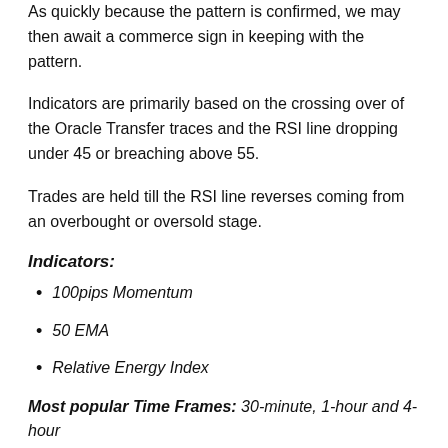As quickly because the pattern is confirmed, we may then await a commerce sign in keeping with the pattern.
Indicators are primarily based on the crossing over of the Oracle Transfer traces and the RSI line dropping under 45 or breaching above 55.
Trades are held till the RSI line reverses coming from an overbought or oversold stage.
Indicators:
100pips Momentum
50 EMA
Relative Energy Index
Most popular Time Frames: 30-minute, 1-hour and 4-hour